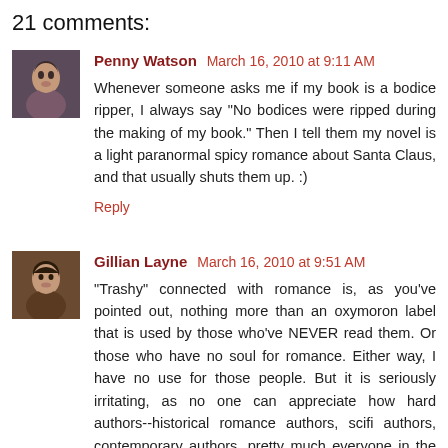21 comments:
Penny Watson March 16, 2010 at 9:11 AM
Whenever someone asks me if my book is a bodice ripper, I always say "No bodices were ripped during the making of my book." Then I tell them my novel is a light paranormal spicy romance about Santa Claus, and that usually shuts them up. :)
Reply
Gillian Layne March 16, 2010 at 9:51 AM
"Trashy" connected with romance is, as you've pointed out, nothing more than an oxymoron label that is used by those who've NEVER read them. Or those who have no soul for romance. Either way, I have no use for those people. But it is seriously irritating, as no one can appreciate how hard authors--historical romance authors, scifi authors, contemporary authors, pretty much everyone in the romance genre--work on getting the details right. And the